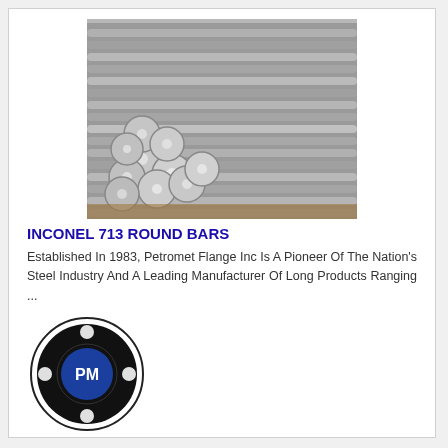[Figure (photo): Photograph of stacked metallic Inconel 713 round bars viewed from the end, showing circular cross-sections and long rod lengths bundled together in a warehouse setting.]
INCONEL 713 ROUND BARS
Established In 1983, Petromet Flange Inc Is A Pioneer Of The Nation's Steel Industry And A Leading Manufacturer Of Long Products Ranging ...
[Figure (logo): Petromet company logo: a circular black ring design resembling a flange with bolt holes, containing a blue circular center with 'PM' initials text inside.]
Mumbai,India
Get Quote